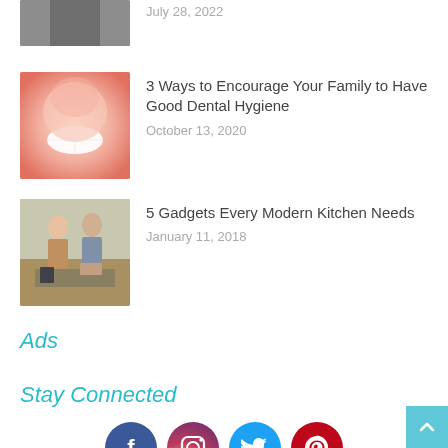[Figure (photo): Partial view of a person wearing gloves, top of page (cropped)]
July 28, 2022
[Figure (photo): Close-up of a person smiling showing white teeth]
3 Ways to Encourage Your Family to Have Good Dental Hygiene
October 13, 2020
[Figure (photo): A couple cooking together in a modern kitchen]
5 Gadgets Every Modern Kitchen Needs
January 11, 2018
Ads
Stay Connected
[Figure (illustration): Social media icons: Facebook, Instagram, Twitter, Pinterest]